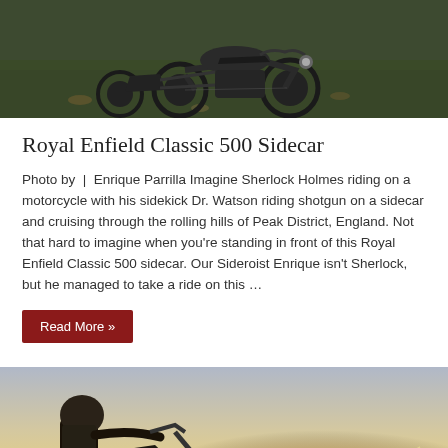[Figure (photo): Overhead view of a Royal Enfield Classic 500 motorcycle with sidecar on grass, dark moody tones]
Royal Enfield Classic 500 Sidecar
Photo by | Enrique Parrilla Imagine Sherlock Holmes riding on a motorcycle with his sidekick Dr. Watson riding shotgun on a sidecar and cruising through the rolling hills of Peak District, England. Not that hard to imagine when you're standing in front of this Royal Enfield Classic 500 sidecar. Our Sideroist Enrique isn't Sherlock, but he managed to take a ride on this …
Read More »
[Figure (photo): Motorcyclist riding with sunset/sunlight flare visible in background, silhouette shot from low angle]